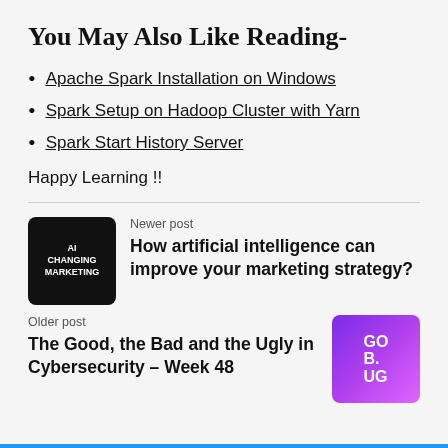You May Also Like Reading-
Apache Spark Installation on Windows
Spark Setup on Hadoop Cluster with Yarn
Spark Start History Server
Happy Learning !!
[Figure (photo): Thumbnail image for AI Changing Marketing post — dark background with text 'AI CHANGING MARKETING' and a handshake illustration]
Newer post
How artificial intelligence can improve your marketing strategy?
Older post
The Good, the Bad and the Ugly in Cybersecurity – Week 48
[Figure (photo): Thumbnail image for cybersecurity post — purple/violet background with text 'GU B. UG' and event branding]